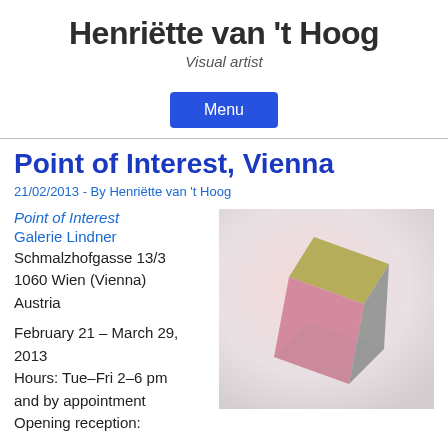Henriëtte van 't Hoog
Visual artist
Menu
Point of Interest, Vienna
21/02/2013 - By Henriëtte van 't Hoog
Point of Interest
Galerie Lindner
Schmalzhofgasse 13/3
1060 Wien (Vienna)
Austria
February 21 – March 29, 2013
Hours: Tue–Fri 2–6 pm
and by appointment
Opening reception:
[Figure (photo): 3D geometric sculpture with olive/yellow top face, pink left face, and grey right face, photographed against a pale pink-grey gradient background]